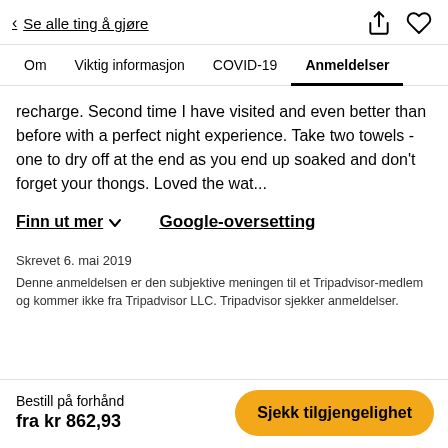< Se alle ting å gjøre
Om   Viktig informasjon   COVID-19   Anmeldelser
recharge. Second time I have visited and even better than before with a perfect night experience. Take two towels - one to dry off at the end as you end up soaked and don't forget your thongs. Loved the wat...
Finn ut mer ∨
Google-oversetting
Skrevet 6. mai 2019
Denne anmeldelsen er den subjektive meningen til et Tripadvisor-medlem og kommer ikke fra Tripadvisor LLC. Tripadvisor sjekker anmeldelser.
Bestill på forhånd fra kr 862,93   Sjekk tilgjengelighet